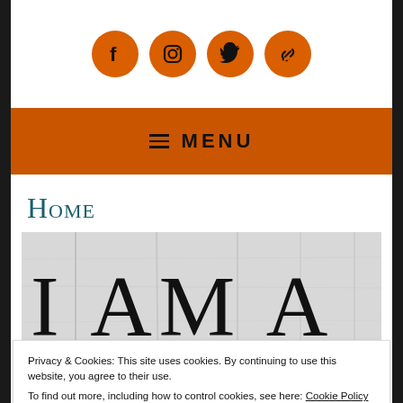[Figure (infographic): Four orange circular social media icons: Facebook, Instagram, Twitter, and a link/chain icon]
☰ MENU
Home
[Figure (photo): Wood plank background with large serif text 'I AM A' and partially visible letters below]
Privacy & Cookies: This site uses cookies. By continuing to use this website, you agree to their use.
To find out more, including how to control cookies, see here: Cookie Policy
Close and accept